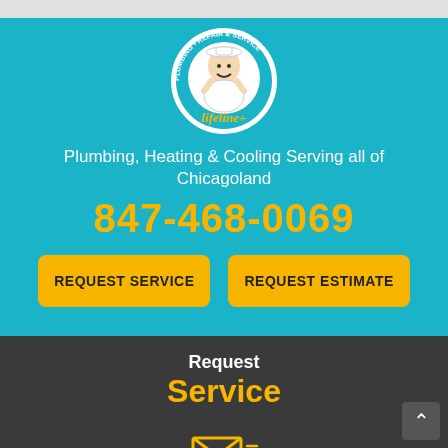[Figure (logo): Lifeline Plumbing, Heating & Cooling circular logo with cartoon plumber character]
Plumbing, Heating & Cooling Serving all of Chicagoland
847-468-0069
REQUEST SERVICE
REQUEST ESTIMATE
Request
Service
[Figure (illustration): Email/envelope icon with lines indicating a message notification]
Request
Estimate